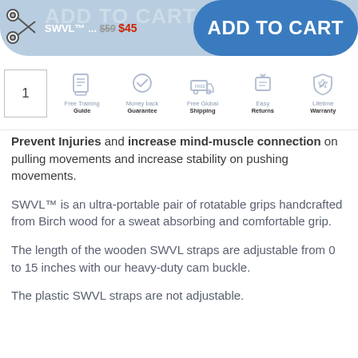[Figure (screenshot): E-commerce product page showing SWVL product with price $45 (was $59), Add to Cart button, trust badges (Free Training Guide, Money back Guarantee, Free Global Shipping, Easy Returns, Lifetime Warranty), and product description text.]
SWVL™... $59 $45 ADD TO CART
1 | Free Training Guide | Money back Guarantee | Free Global Shipping | Easy Returns | Lifetime Warranty
Prevent Injuries and increase mind-muscle connection on pulling movements and increase stability on pushing movements.
SWVL™ is an ultra-portable pair of rotatable grips handcrafted from Birch wood for a sweat absorbing and comfortable grip.
The length of the wooden SWVL straps are adjustable from 0 to 15 inches with our heavy-duty cam buckle.
The plastic SWVL straps are not adjustable.